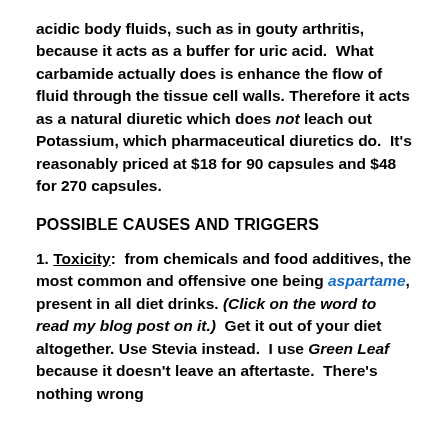acidic body fluids, such as in gouty arthritis, because it acts as a buffer for uric acid.  What carbamide actually does is enhance the flow of fluid through the tissue cell walls. Therefore it acts as a natural diuretic which does not leach out Potassium, which pharmaceutical diuretics do.  It's reasonably priced at $18 for 90 capsules and $48 for 270 capsules.
POSSIBLE CAUSES AND TRIGGERS
1. Toxicity:  from chemicals and food additives, the most common and offensive one being aspartame, present in all diet drinks. (Click on the word to read my blog post on it.)  Get it out of your diet altogether. Use Stevia instead.  I use Green Leaf because it doesn't leave an aftertaste.  There's nothing wrong